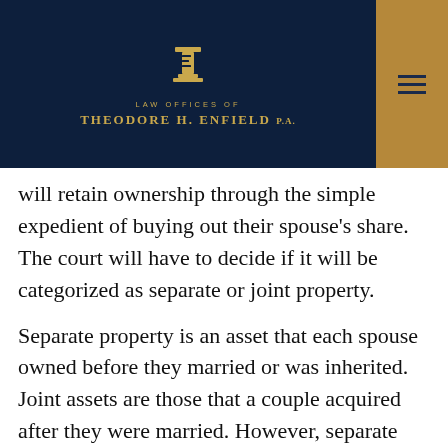LAW OFFICES OF THEODORE H. ENFIELD P.A.
will retain ownership through the simple expedient of buying out their spouse’s share. The court will have to decide if it will be categorized as separate or joint property.
Separate property is an asset that each spouse owned before they married or was inherited. Joint assets are those that a couple acquired after they were married. However, separate property that contributed to the marriage or was used to support the marriage may be deemed as a marital asset. A business may be determined as marital property if